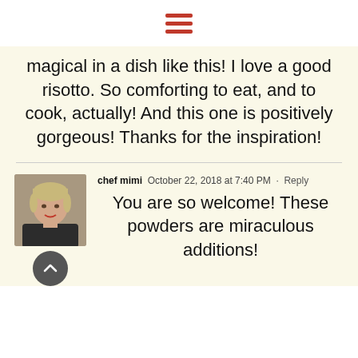[Figure (other): Hamburger menu icon with three red horizontal bars]
magical in a dish like this! I love a good risotto. So comforting to eat, and to cook, actually! And this one is positively gorgeous! Thanks for the inspiration!
[Figure (photo): Avatar photo of chef mimi - woman with short blonde hair]
chef mimi  October 22, 2018 at 7:40 PM · Reply
You are so welcome! These powders are miraculous additions!